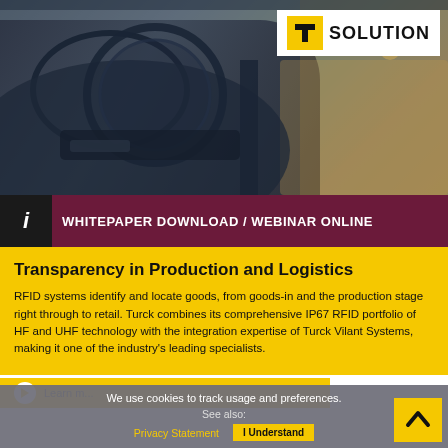[Figure (photo): Car interior/body frame in an automotive manufacturing plant, shown in blue-grey tones with warm light in background]
SOLUTION
WHITEPAPER DOWNLOAD / WEBINAR ONLINE
Transparency in Production and Logistics
RFID systems identify and locate goods, from goods-in and the production stage right through to retail. Turck combines its comprehensive IP67 RFID portfolio of HF and UHF technology with the integration expertise of Turck Vilant Systems, making it one of the industry's leading specialists.
We use cookies to track usage and preferences.
See also:
Privacy Statement   I Understand